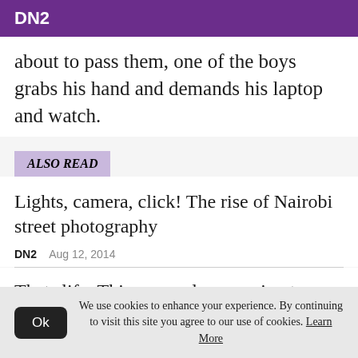DN2
about to pass them, one of the boys grabs his hand and demands his laptop and watch.
ALSO READ
Lights, camera, click! The rise of Nairobi street photography
DN2    Aug 12, 2014
Thats life: Things are always going to happen
We use cookies to enhance your experience. By continuing to visit this site you agree to our use of cookies. Learn More